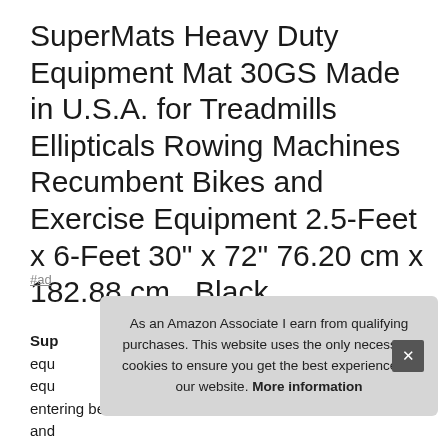SuperMats Heavy Duty Equipment Mat 30GS Made in U.S.A. for Treadmills Ellipticals Rowing Machines Recumbent Bikes and Exercise Equipment 2.5-Feet x 6-Feet 30" x 72" 76.20 cm x 182.88 cm , Black
#ad
SuperMats equipment equ equipment entering belts and mechanical parts.
As an Amazon Associate I earn from qualifying purchases. This website uses the only necessary cookies to ensure you get the best experience on our website. More information